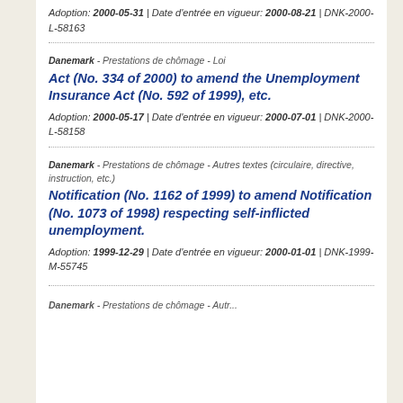Adoption: 2000-05-31 | Date d'entrée en vigueur: 2000-08-21 | DNK-2000-L-58163
Danemark - Prestations de chômage - Loi
Act (No. 334 of 2000) to amend the Unemployment Insurance Act (No. 592 of 1999), etc.
Adoption: 2000-05-17 | Date d'entrée en vigueur: 2000-07-01 | DNK-2000-L-58158
Danemark - Prestations de chômage - Autres textes (circulaire, directive, instruction, etc.)
Notification (No. 1162 of 1999) to amend Notification (No. 1073 of 1998) respecting self-inflicted unemployment.
Adoption: 1999-12-29 | Date d'entrée en vigueur: 2000-01-01 | DNK-1999-M-55745
Danemark - Prestations de chômage - Autr...